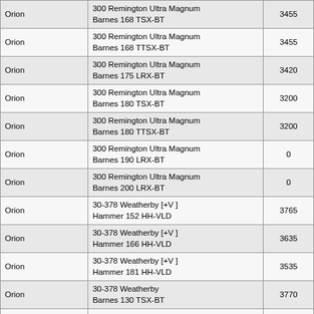| Orion | 300 Remington Ultra Magnum
Barnes 168 TSX-BT | 3455 |
| Orion | 300 Remington Ultra Magnum
Barnes 168 TTSX-BT | 3455 |
| Orion | 300 Remington Ultra Magnum
Barnes 175 LRX-BT | 3420 |
| Orion | 300 Remington Ultra Magnum
Barnes 180 TSX-BT | 3200 |
| Orion | 300 Remington Ultra Magnum
Barnes 180 TTSX-BT | 3200 |
| Orion | 300 Remington Ultra Magnum
Barnes 190 LRX-BT | 0 |
| Orion | 300 Remington Ultra Magnum
Barnes 200 LRX-BT | 0 |
| Orion | 30-378 Weatherby [+V ]
Hammer 152 HH-VLD | 3765 |
| Orion | 30-378 Weatherby [+V ]
Hammer 166 HH-VLD | 3635 |
| Orion | 30-378 Weatherby [+V ]
Hammer 181 HH-VLD | 3535 |
| Orion | 30-378 Weatherby
Barnes 130 TSX-BT | 3770 |
| Orion | 30-378 Weatherby
Barnes 130 TTSX-BT | 3770 |
| Orion | 30-378 Weatherby
Barnes 150 TSX-BT | 3565 |
| Orion | 30-378 Weatherby
Barnes 150 TTSX-BT | 3565 |
| Orion | 30-378 Weatherby
Barnes 165 TSX-BT | 3460 |
| Orion | 30-378 Weatherby
Barnes 165 TTSX-BT | 3460 |
| Orion | 30-378 Weatherby | 3430 |